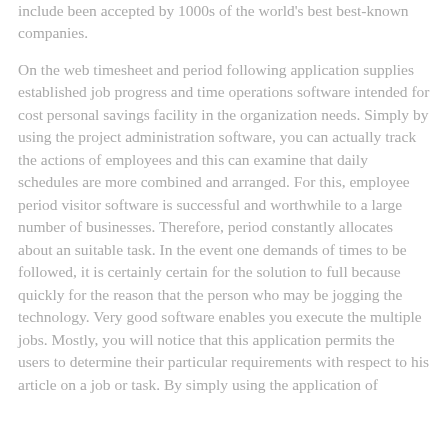include been accepted by 1000s of the world's best best-known companies.
On the web timesheet and period following application supplies established job progress and time operations software intended for cost personal savings facility in the organization needs. Simply by using the project administration software, you can actually track the actions of employees and this can examine that daily schedules are more combined and arranged. For this, employee period visitor software is successful and worthwhile to a large number of businesses. Therefore, period constantly allocates about an suitable task. In the event one demands of times to be followed, it is certainly certain for the solution to full because quickly for the reason that the person who may be jogging the technology. Very good software enables you execute the multiple jobs. Mostly, you will notice that this application permits the users to determine their particular requirements with respect to his article on a job or task. By simply using the application of